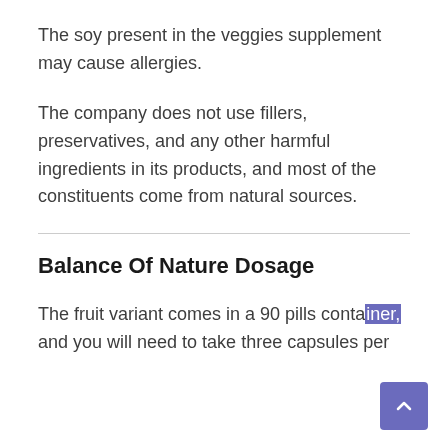The soy present in the veggies supplement may cause allergies.
The company does not use fillers, preservatives, and any other harmful ingredients in its products, and most of the constituents come from natural sources.
Balance Of Nature Dosage
The fruit variant comes in a 90 pills container, and you will need to take three capsules per